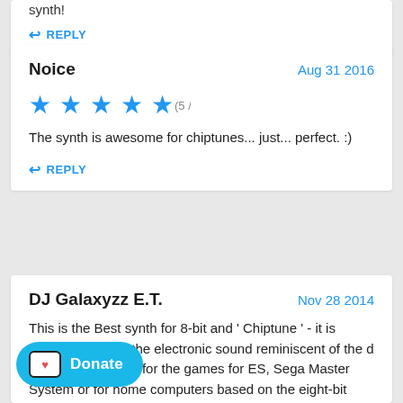synth!
↩ REPLY
Noice
Aug 31 2016
[Figure (other): 5 blue stars rating (5/5)]
The synth is awesome for chiptunes... just... perfect. :)
↩ REPLY
DJ Galaxyzz E.T.
Nov 28 2014
This is the Best synth for 8-bit and ' Chiptune ' - it is characterized by the electronic sound reminiscent of the d in the soundtracks for the games for ES, Sega Master System or for home computers based on the eight-bit processor (Z80, 6510):
[Figure (other): Donate button with heart icon]